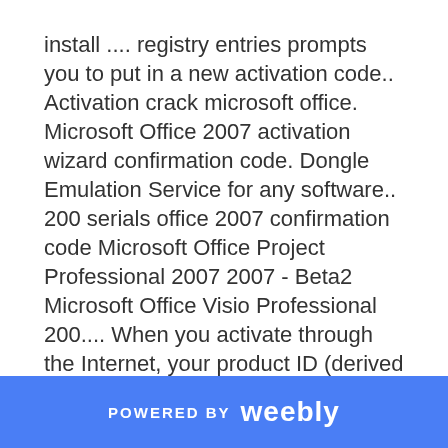install .... registry entries prompts you to put in a new activation code.. Activation crack microsoft office. Microsoft Office 2007 activation wizard confirmation code. Dongle Emulation Service for any software.. 200 serials office 2007 confirmation code Microsoft Office Project Professional 2007 2007 - Beta2 Microsoft Office Visio Professional 200.... When you activate through the Internet, your product ID (derived from the installation Product Key) is sent to Microsoft. A response (the confirmation ID) is sent .... Get 100% working MS Office 2010 serial keys for free. ... MS Office 2010 product keys: Microsoft office 2010 is the successor of Microsoft office 2007 and it is ... Step 5: Now enter your activation code/confirmation ID and
POWERED BY weebly